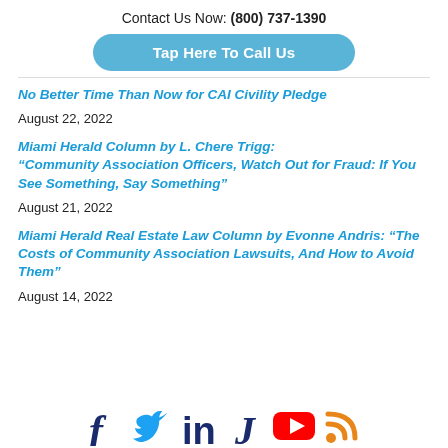Contact Us Now: (800) 737-1390
Tap Here To Call Us
No Better Time Than Now for CAI Civility Pledge
August 22, 2022
Miami Herald Column by L. Chere Trigg: “Community Association Officers, Watch Out for Fraud: If You See Something, Say Something”
August 21, 2022
Miami Herald Real Estate Law Column by Evonne Andris: “The Costs of Community Association Lawsuits, And How to Avoid Them”
August 14, 2022
[Figure (other): Social media icons: Facebook, Twitter, LinkedIn, Justia, YouTube, RSS feed]